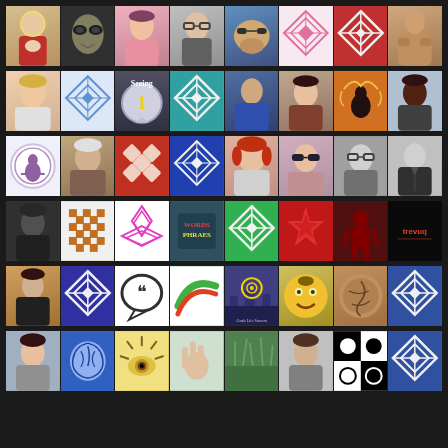[Figure (screenshot): Grid of social media profile avatars and decorative quilt-pattern images arranged in 6 horizontal rows on a dark background. Row 1: Jesus illustration, alien, girl in pink, woman with glasses, dog with sunglasses, pink quilt pattern, red quilt pattern, muscular man. Row 2: blonde woman, blue quilt pattern, 'Seeing 1' badge, teal quilt pattern, man in blue shirt, Asian woman, orange meditation silhouette, Black man outdoors. Row 3: circular meditation logo, elderly woman, red diamond quilt, blue diamond quilt, woman with red hair, woman with sunglasses, man with glasses B&W, man in suit B&W. Row 4: Black man B&W portrait, brown pixel pattern, pink diamond pattern, 'Words' text graphic, green quilt pattern, red star pattern, red silhouette figure, Trevuq logo. Row 5: boy in dark suit, purple quilt, speech bubble icon, green swoosh logo, cityscape with target, emoji face, brown textured circle, blue quilt. Row 6: woman selfie, blue brain, eye with rays, hand gesture, grass/nature, man portrait, black and white pattern, quilt pattern.]